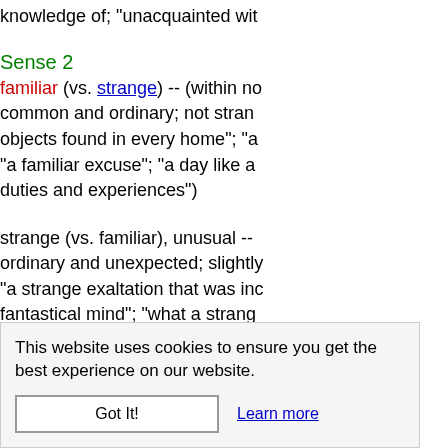knowledge of; "unacquainted wit
Sense 2
familiar (vs. strange) -- (within no common and ordinary; not stran objects found in every home"; "a "a familiar excuse"; "a day like a duties and experiences")
strange (vs. familiar), unusual -- ordinary and unexpected; slightly "a strange exaltation that was inc fantastical mind"; "what a strang => antic, fantastic, fantastic odd; "Hamlet's assumed antic di Halloween costumes"; "a grotesc => crazy -- (bizarre or fanta "wore a crazy hat") => curious, funny, odd, pec singular -- (beyond or deviating f "a curious hybrid accent"; "her sp "they have some funny ideas abe
This website uses cookies to ensure you get the best experience on our website.